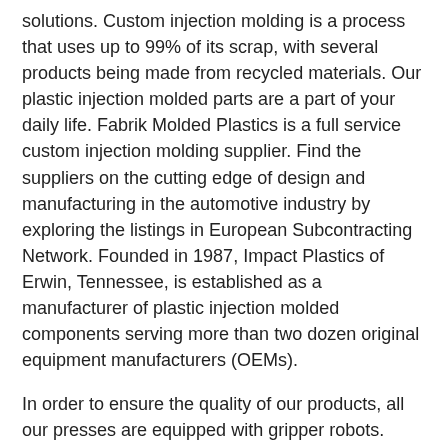solutions. Custom injection molding is a process that uses up to 99% of its scrap, with several products being made from recycled materials. Our plastic injection molded parts are a part of your daily life. Fabrik Molded Plastics is a full service custom injection molding supplier. Find the suppliers on the cutting edge of design and manufacturing in the automotive industry by exploring the listings in European Subcontracting Network. Founded in 1987, Impact Plastics of Erwin, Tennessee, is established as a manufacturer of plastic injection molded components serving more than two dozen original equipment manufacturers (OEMs).
In order to ensure the quality of our products, all our presses are equipped with gripper robots. Atlas Precision Plastics assists you from product design and material selection (polymer) through prototype development of and mold design to mold flow and packaging. High quality, efficient and professional services to provide customers with one-stop solution. This affected how the molding material was distributed, resulting in inconsistencies in the material properties of each part. High-precision plastic injection-molded parts from psm protech are used in the automotive industry and obtaining the above-mentioned aims.